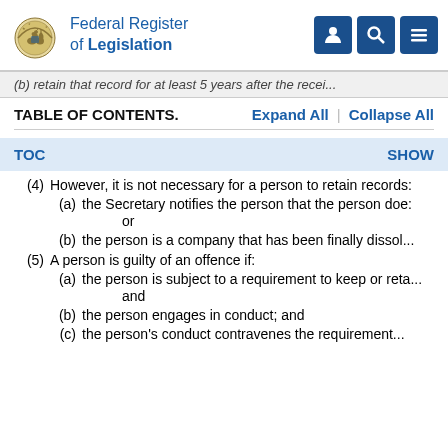Federal Register of Legislation
(b) retain that record for at least 5 years after the recei...
TABLE OF CONTENTS.
TOC   SHOW
(4) However, it is not necessary for a person to retain records:
(a) the Secretary notifies the person that the person does not need to retain the record; or
(b) the person is a company that has been finally dissolved.
(5) A person is guilty of an offence if:
(a) the person is subject to a requirement to keep or retain... and
(b) the person engages in conduct; and
(c) the person's conduct contravenes the requirement.